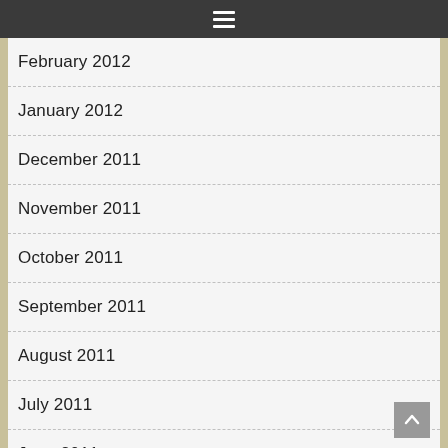☰
February 2012
January 2012
December 2011
November 2011
October 2011
September 2011
August 2011
July 2011
June 2011
May 2011